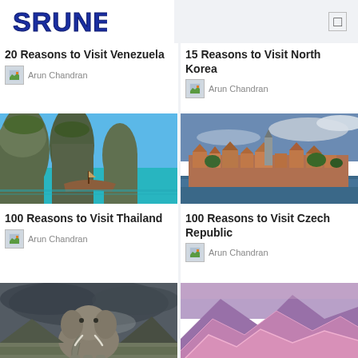SRUNE
20 Reasons to Visit Venezuela
Arun Chandran
15 Reasons to Visit North Korea
Arun Chandran
[Figure (photo): Tropical bay with limestone cliffs and a wooden longtail boat on turquoise water — Thailand]
[Figure (photo): Aerial HDR view of a historic town with red-roofed buildings beside a river — Czech Republic]
100 Reasons to Visit Thailand
Arun Chandran
100 Reasons to Visit Czech Republic
Arun Chandran
[Figure (photo): An elephant standing in a dramatic stormy landscape]
[Figure (photo): Purple and pink mountain range landscape]